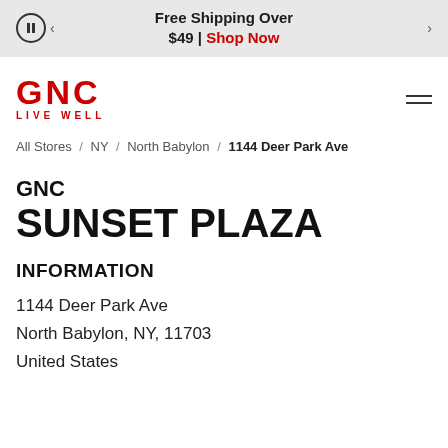Free Shipping Over $49 | Shop Now
[Figure (logo): GNC Live Well logo in red]
All Stores / NY / North Babylon / 1144 Deer Park Ave
GNC SUNSET PLAZA
INFORMATION
1144 Deer Park Ave
North Babylon, NY, 11703
United States